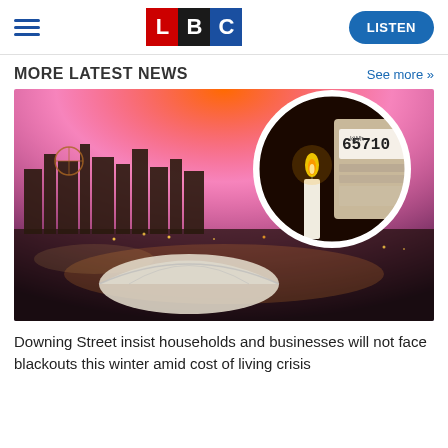LBC — LISTEN
MORE LATEST NEWS
See more >>
[Figure (photo): Aerial night view of Edinburgh city skyline at sunset with orange sky, a circular inset showing a candle next to an electricity meter reading 65710 kWh]
Downing Street insist households and businesses will not face blackouts this winter amid cost of living crisis